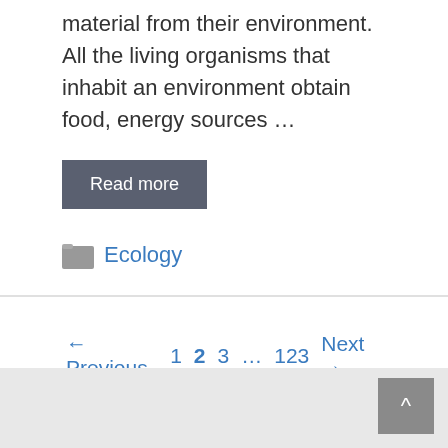material from their environment. All the living organisms that inhabit an environment obtain food, energy sources …
Read more
Ecology
← Previous 1 2 3 … 123 Next →